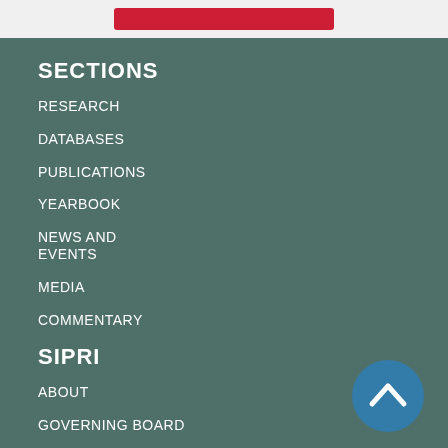[Figure (other): Red button/banner in light gray top bar]
SECTIONS
RESEARCH
DATABASES
PUBLICATIONS
YEARBOOK
NEWS AND EVENTS
MEDIA
COMMENTARY
SIPRI
ABOUT
GOVERNING BOARD
[Figure (other): Scroll-to-top circular button with upward chevron icon, dark teal color]